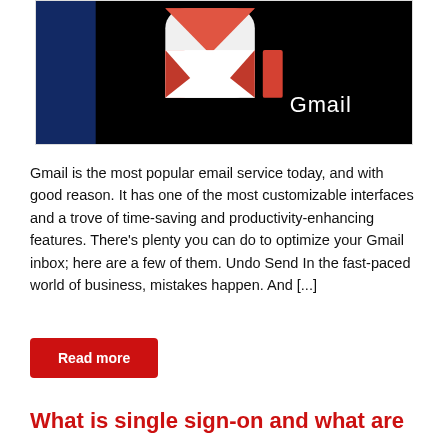[Figure (photo): Close-up photo of the Gmail app icon on a smartphone screen, showing the red and white Gmail envelope logo on a dark/black background with the word 'Gmail' in white text below the icon.]
Gmail is the most popular email service today, and with good reason. It has one of the most customizable interfaces and a trove of time-saving and productivity-enhancing features. There's plenty you can do to optimize your Gmail inbox; here are a few of them. Undo Send In the fast-paced world of business, mistakes happen. And [...]
Read more
What is single sign-on and what are